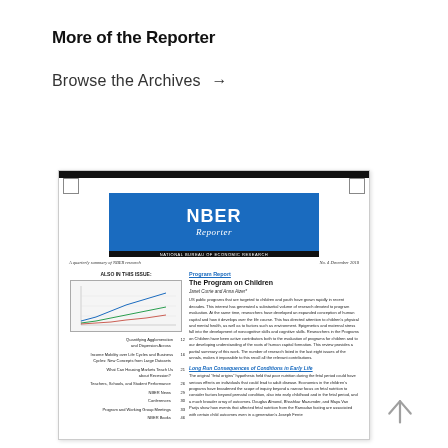More of the Reporter
Browse the Archives →
[Figure (screenshot): Thumbnail image of the NBER Reporter publication cover page, showing the NBER Reporter masthead with blue header, a small line chart in the table of contents area on the left, and an article titled 'The Program on Children' by Janet Currie and Anna Aizer on the right column.]
[Figure (other): Back to top arrow icon pointing upward, located in the bottom right corner]